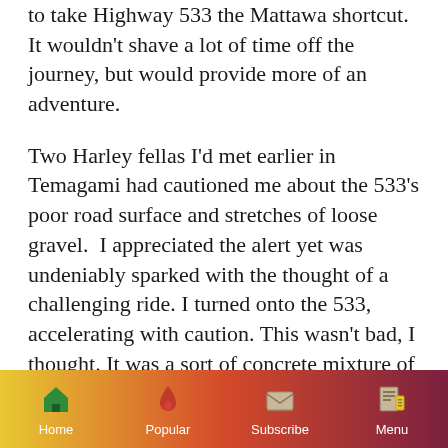to take Highway 533 the Mattawa shortcut. It wouldn't shave a lot of time off the journey, but would provide more of an adventure.

Two Harley fellas I'd met earlier in Temagami had cautioned me about the 533's poor road surface and stretches of loose gravel.  I appreciated the alert yet was undeniably sparked with the thought of a challenging ride. I turned onto the 533, accelerating with caution. This wasn't bad, I thought. It was a sort of concrete mixture of stones and paved patches here and there. And then it metamorphised into the rough
Home  Popular  Subscribe  Menu